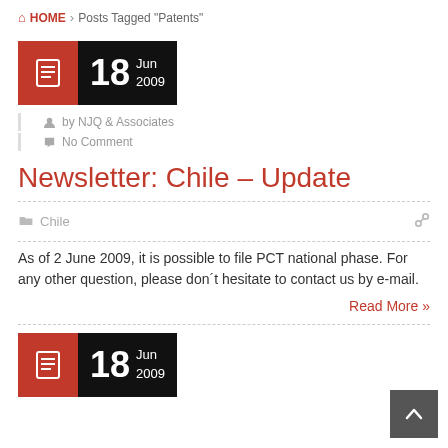HOME > Posts Tagged "Patents"
[Figure (other): Date block: 18 Jun 2009 with document icon, orange and black background]
by NJQ & Associates
No Comment
Newsletter: Chile – Update
Chile
As of 2 June 2009, it is possible to file PCT national phase. For any other question, please don´t hesitate to contact us by e-mail.
Read More »
[Figure (other): Date block: 18 Jun 2009 with document icon, orange and black background (second post)]